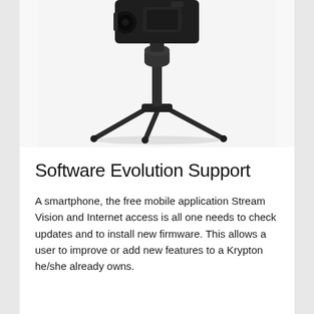[Figure (photo): A black camera or thermal scope mounted on a small black tripod, photographed from below against a white background. The tripod has three legs spread outward and a central column, with the device mounted on top.]
Software Evolution Support
A smartphone, the free mobile application Stream Vision and Internet access is all one needs to check updates and to install new firmware. This allows a user to improve or add new features to a Krypton he/she already owns.